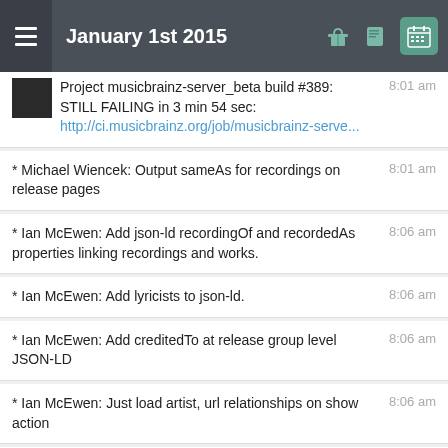January 1st 2015
Project musicbrainz-server_beta build #389: STILL FAILING in 3 min 54 sec: http://ci.musicbrainz.org/job/musicbrainz-serve...  8:01 am
* Michael Wiencek: Output sameAs for recordings on release pages  8:01 am
* Ian McEwen: Add json-ld recordingOf and recordedAs properties linking recordings and works.  8:06 am
* Ian McEwen: Add lyricists to json-ld.  8:06 am
* Ian McEwen: Add creditedTo at release group level JSON-LD  8:06 am
* Ian McEwen: Just load artist, url relationships on show action  8:06 am